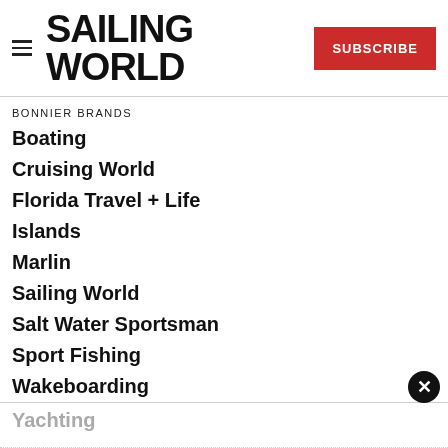SAILING WORLD
BONNIER BRANDS
Boating
Cruising World
Florida Travel + Life
Islands
Marlin
Sailing World
Salt Water Sportsman
Sport Fishing
Wakeboarding
Yachting